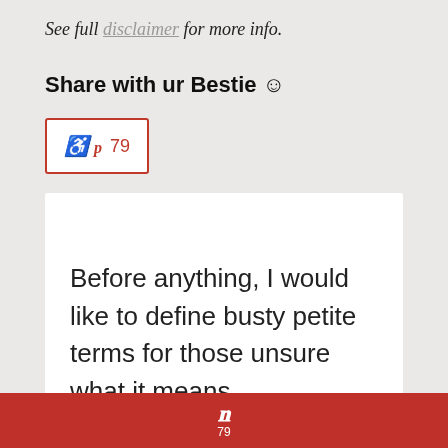See full disclaimer for more info.
Share with ur Bestie 😊
[Figure (other): Pinterest share button showing count of 79]
Before anything, I would like to define busty petite terms for those unsure what it means.
Pinterest icon with count 79